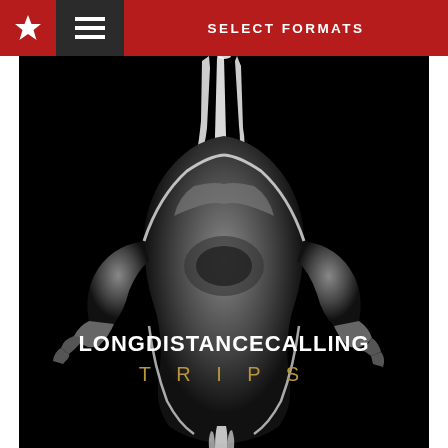SELECT FORMATS
[Figure (photo): Album cover for 'TRIPS' by Long Distance Calling. A dark, black and white image of a headless human figure with dripping white substance forming a crown-like shape above the torso. The body has hands on hips. White text reads 'LONGDISTANCECALLING' and below in spaced golden/bronze letters 'T R I P S'.]